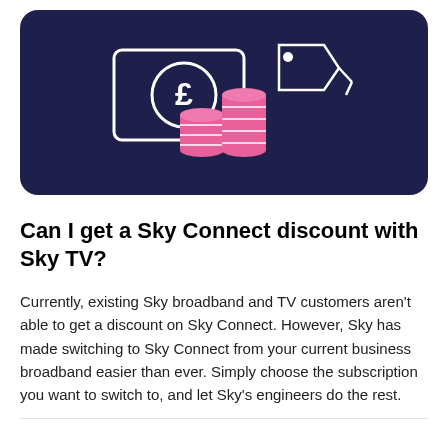[Figure (illustration): Illustration on dark navy background showing a banknote with a pound symbol, stacks of pink coins, and a price tag, representing money and discounts.]
Can I get a Sky Connect discount with Sky TV?
Currently, existing Sky broadband and TV customers aren't able to get a discount on Sky Connect. However, Sky has made switching to Sky Connect from your current business broadband easier than ever. Simply choose the subscription you want to switch to, and let Sky's engineers do the rest.